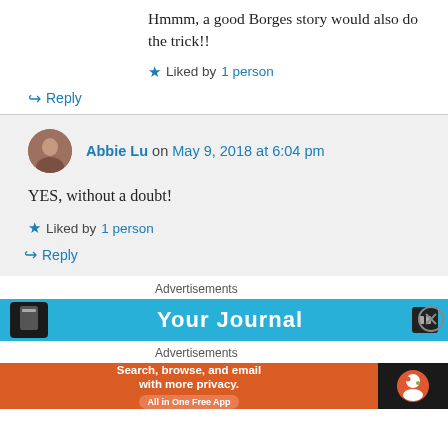Hmmm, a good Borges story would also do the trick!!
★ Liked by 1 person
↳ Reply
Abbie Lu on May 9, 2018 at 6:04 pm
YES, without a doubt!
★ Liked by 1 person
↳ Reply
Advertisements
[Figure (screenshot): Blue advertisement banner showing 'Your Journal' text with book icon]
Advertisements
[Figure (screenshot): DuckDuckGo advertisement: 'Search, browse, and email with more privacy. All in One Free App' on orange background with DuckDuckGo logo on dark background]